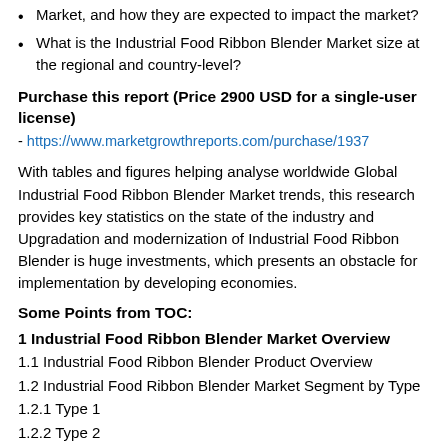Market, and how they are expected to impact the market?
What is the Industrial Food Ribbon Blender Market size at the regional and country-level?
Purchase this report (Price 2900 USD for a single-user license)
- https://www.marketgrowthreports.com/purchase/1937
With tables and figures helping analyse worldwide Global Industrial Food Ribbon Blender Market trends, this research provides key statistics on the state of the industry and Upgradation and modernization of Industrial Food Ribbon Blender is huge investments, which presents an obstacle for implementation by developing economies.
Some Points from TOC:
1 Industrial Food Ribbon Blender Market Overview
1.1 Industrial Food Ribbon Blender Product Overview
1.2 Industrial Food Ribbon Blender Market Segment by Type
1.2.1 Type 1
1.2.2 Type 2